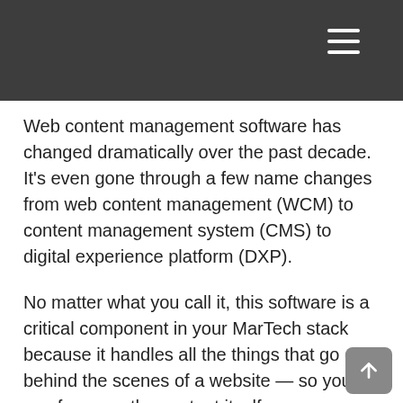Web content management software has changed dramatically over the past decade. It's even gone through a few name changes from web content management (WCM) to content management system (CMS) to digital experience platform (DXP).
No matter what you call it, this software is a critical component in your MarTech stack because it handles all the things that go on behind the scenes of a website — so you can focus on the content itself.
Today, there's an endless variety of web content management software to choose from, each with its own set of features and benefits.
Some software, for example, is ideally suited for